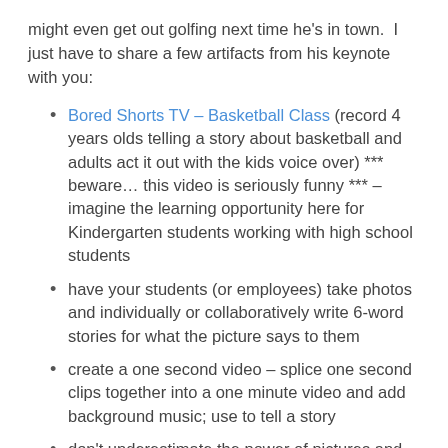might even get out golfing next time he's in town.  I just have to share a few artifacts from his keynote with you:
Bored Shorts TV – Basketball Class (record 4 years olds telling a story about basketball and adults act it out with the kids voice over) *** beware… this video is seriously funny *** – imagine the learning opportunity here for Kindergarten students working with high school students
have your students (or employees) take photos and individually or collaboratively write 6-word stories for what the picture says to them
create a one second video – splice one second clips together into a one minute video and add background music; use to tell a story
don't underestimate the power of pictures and videos for story telling – media deeply engages our senses
publish yours and your students work for the world to see